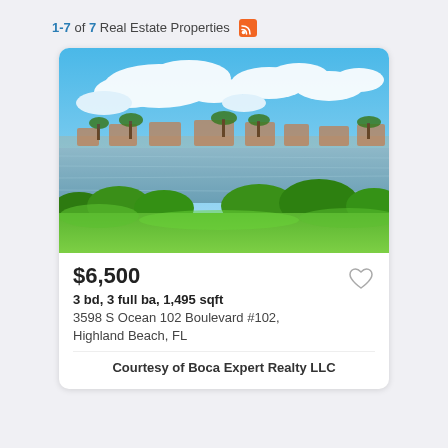1-7 of 7 Real Estate Properties
[Figure (photo): Waterfront property photo showing a blue sky with clouds, a body of water, lush green lawn, and residential buildings with palm trees in the background.]
$6,500
3 bd, 3 full ba, 1,495 sqft
3598 S Ocean 102 Boulevard #102, Highland Beach, FL
Courtesy of Boca Expert Realty LLC